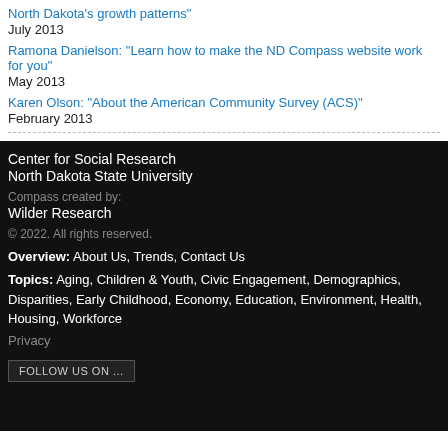North Dakota's growth patterns"
July 2013
Ramona Danielson: "Learn how to make the ND Compass website work for you"
May 2013
Karen Olson: "About the American Community Survey (ACS)"
February 2013
Center for Social Research
North Dakota State University
Compass created by:
Wilder Research
© 2022. All rights reserved.
Overview: About Us, Trends, Contact Us
Topics: Aging, Children & Youth, Civic Engagement, Demographics, Disparities, Early Childhood, Economy, Education, Environment, Health, Housing, Workforce
Privacy
FOLLOW US ON ...